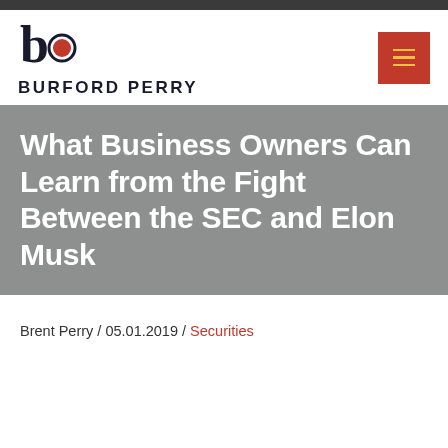Burford Perry
What Business Owners Can Learn from the Fight Between the SEC and Elon Musk
Brent Perry / 05.01.2019 / Securities